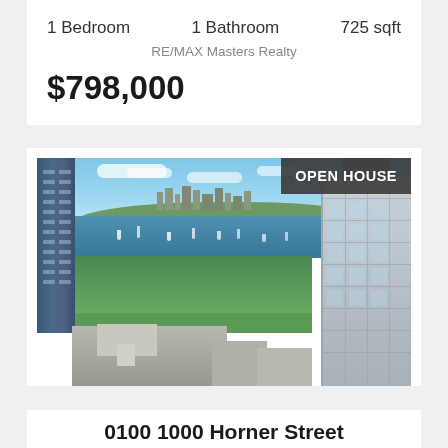1 Bedroom   1 Bathroom   725 sqft
RE/MAX Masters Realty
$798,000
[Figure (photo): Aerial/high-floor view of a city with a waterway, green park, and modern glass condominium buildings. An 'OPEN HOUSE' badge overlays the top-right corner.]
0100 1000 Horner Street